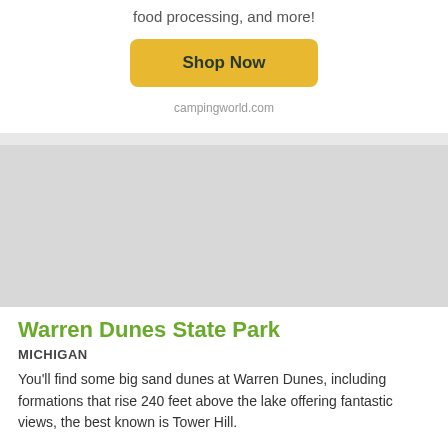food processing, and more!
[Figure (other): Yellow 'Shop Now' button with rounded corners]
campingworld.com
[Figure (photo): Large gray placeholder image for Warren Dunes State Park]
Warren Dunes State Park
MICHIGAN
You'll find some big sand dunes at Warren Dunes, including formations that rise 240 feet above the lake offering fantastic views, the best known is Tower Hill.